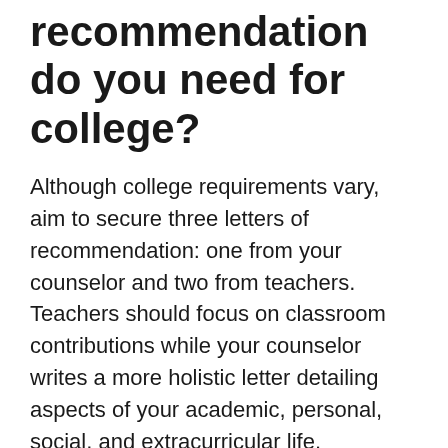recommendation do you need for college?
Although college requirements vary, aim to secure three letters of recommendation: one from your counselor and two from teachers. Teachers should focus on classroom contributions while your counselor writes a more holistic letter detailing aspects of your academic, personal, social, and extracurricular life.
THIS IS INTERESTING:  Why do charities use PayPal?
How do colleges verify